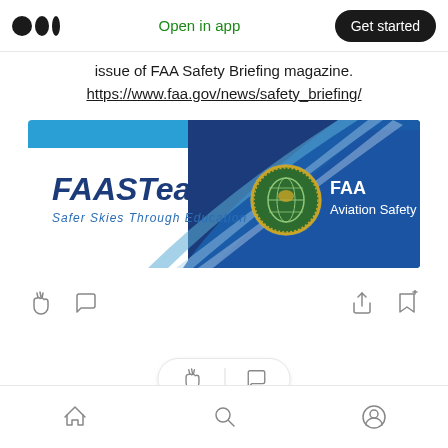Medium app header with logo, Open in app, Get started
issue of FAA Safety Briefing magazine.
https://www.faa.gov/news/safety_briefing/
[Figure (logo): FAASTeam banner with 'FAASTeam Safer Skies Through Education' on left and FAA Aviation Safety logo on right, on a blue gradient background]
Article action icons: clap, comment, share, bookmark-add; floating reply bar; bottom navigation with home, search, profile